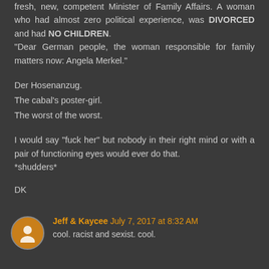fresh, new, competent Minister of Family Affairs. A woman who had almost zero political experience, was DIVORCED and had NO CHILDREN. "Dear German people, the woman responsible for family matters now: Angela Merkel."

Der Hosenanzug.
The cabal's poster-girl.
The worst of the worst.

I would say "fuck her" but nobody in their right mind or with a pair of functioning eyes would ever do that.
*shudders*

DK
Jeff & Kaycee July 7, 2017 at 8:32 AM
cool. racist and sexist. cool.